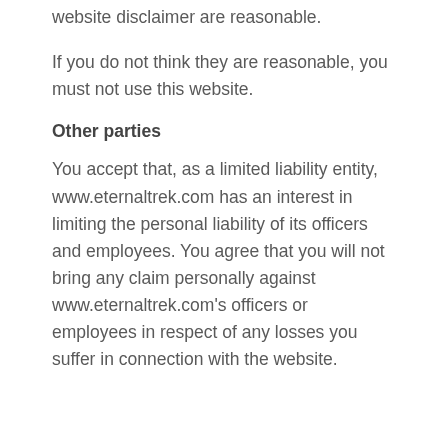website disclaimer are reasonable.
If you do not think they are reasonable, you must not use this website.
Other parties
You accept that, as a limited liability entity, www.eternaltrek.com has an interest in limiting the personal liability of its officers and employees. You agree that you will not bring any claim personally against www.eternaltrek.com's officers or employees in respect of any losses you suffer in connection with the website.